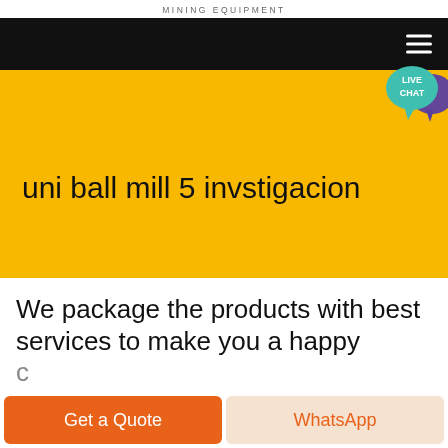MINING EQUIPMENT
[Figure (screenshot): Black navigation bar with hamburger menu icon on the right, and a live chat speech bubble widget in teal/purple at the top right of the hero banner]
uni ball mill 5 invstigacion
We package the products with best services to make you a happy
Get a Quote
WhatsApp